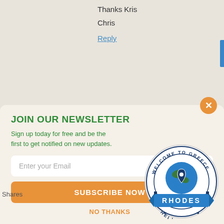Thanks Kris
Chris
Reply
Traci
June 19, 2018
Wow I didn't even know about this part of Greece! I am super surprised about the 5 hour drive along the whole coast of [POWERED BY SUMO] unds like a great
JOIN OUR NEWSLETTER
Sign up today for free and be the first to get notified on new updates.
Enter your Email
SUBSCRIBE NOW
NO THANKS
Shares